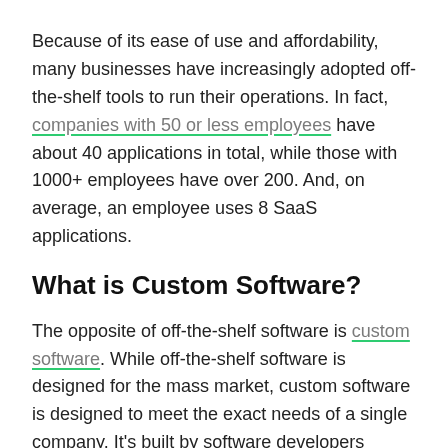Because of its ease of use and affordability, many businesses have increasingly adopted off-the-shelf tools to run their operations. In fact, companies with 50 or less employees have about 40 applications in total, while those with 1000+ employees have over 200. And, on average, an employee uses 8 SaaS applications.
What is Custom Software?
The opposite of off-the-shelf software is custom software. While off-the-shelf software is designed for the mass market, custom software is designed to meet the exact needs of a single company. It's built by software developers (external or internal)